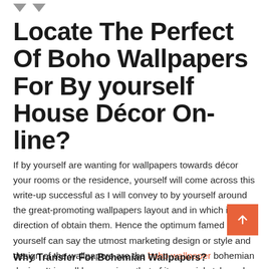Locate The Perfect Of Boho Wallpapers For By yourself House Décor On-line?
If by yourself are wanting for wallpapers towards décor your rooms or the residence, yourself will come across this write-up successful as I will convey to by yourself around the great-promoting wallpapers layout and in which in direction of obtain them. Hence the optimum famed or yourself can say the utmost marketing design or style and design of the wallpapers are the boho wallpaper bohemian design. It is well known given that of its special style and design and aesthetic seem, which attracts anyone's awareness.
Why Transfer For Bohemian Wallpapers?